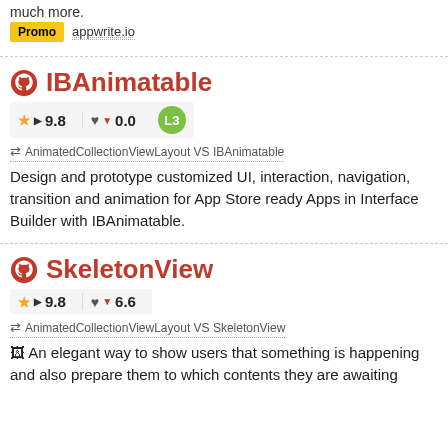much more.
Promo   appwrite.io
IBAnimatable
★ ▶ 9.8   ♥ ▼ 0.0   L3
⇄ AnimatedCollectionViewLayout VS IBAnimatable
Design and prototype customized UI, interaction, navigation, transition and animation for App Store ready Apps in Interface Builder with IBAnimatable.
SkeletonView
★ ▶ 9.8   ♥ ▼ 6.6
⇄ AnimatedCollectionViewLayout VS SkeletonView
🖼 An elegant way to show users that something is happening and also prepare them to which contents they are awaiting